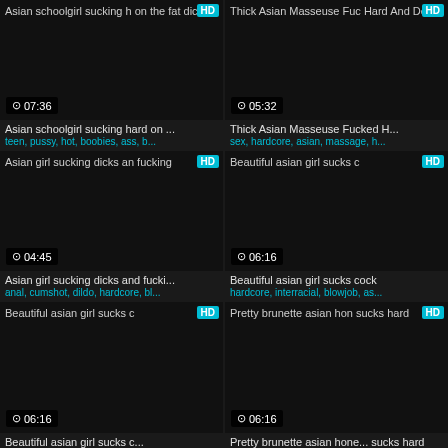[Figure (screenshot): Video thumbnail grid showing adult content listings with titles, tags, HD badges, and durations]
Asian schoolgirl sucking hard on ...
teen, pussy, hot, boobies, ass, b...
Thick Asian Masseuse Fucked H...
sex, hardcore, asian, massage, h...
Asian girl sucking dicks and fucki...
anal, cumshot, dildo, hardcore, bl...
Beautiful asian girl sucks cock
hardcore, interracial, blowjob, as...
Beautiful asian girl sucks c...
Pretty brunette asian hone... sucks hard